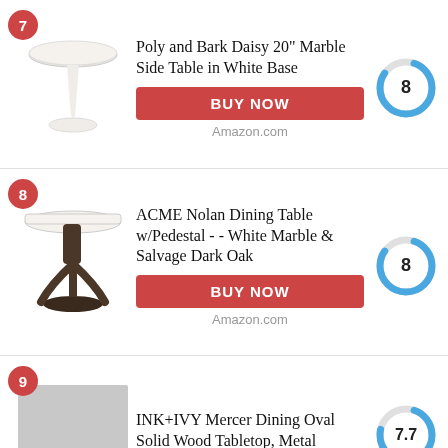7 — Poly and Bark Daisy 20" Marble Side Table in White Base — Score: 8
[Figure (photo): White tulip-style marble side table with round top and single pedestal base]
Poly and Bark Daisy 20" Marble Side Table in White Base
BUY NOW
Amazon.com
[Figure (donut-chart): Circular score gauge showing 8 out of 10, with blue arc on gray background]
8 — ACME Nolan Dining Table w/Pedestal - - White Marble & Salvage Dark Oak — Score: 8
[Figure (photo): Dark wood pedestal dining table with white marble top]
ACME Nolan Dining Table w/Pedestal - - White Marble & Salvage Dark Oak
BUY NOW
Amazon.com
[Figure (donut-chart): Circular score gauge showing 8 out of 10, with blue arc on gray background]
9 — INK+IVY Mercer Dining Oval Solid Wood Tabletop, Metal — Score: 7.7
[Figure (photo): Gray placeholder image for table product]
INK+IVY Mercer Dining Oval Solid Wood Tabletop, Metal
[Figure (donut-chart): Circular score gauge showing 7.7 out of 10, with blue arc on gray background]